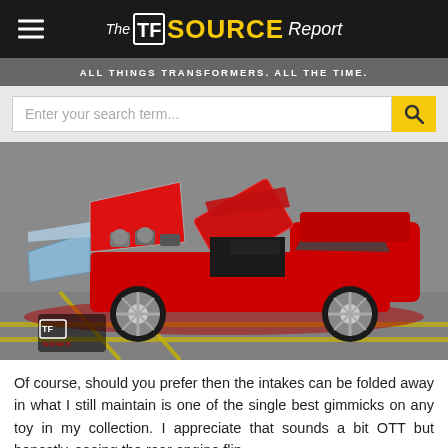The TF SOURCE Report — ALL THINGS TRANSFORMERS. ALL THE TIME.
[Figure (photo): Red Transformer toy car (Lamborghini Countach style) with doors and hood open, showing internal mechanical details, displayed on a grey surface with yellow lines. TF Source logo watermark in bottom-left.]
Of course, should you prefer then the intakes can be folded away in what I still maintain is one of the single best gimmicks on any toy in my collection. I appreciate that sounds a bit OTT but honestly, seeing the rear engine flip